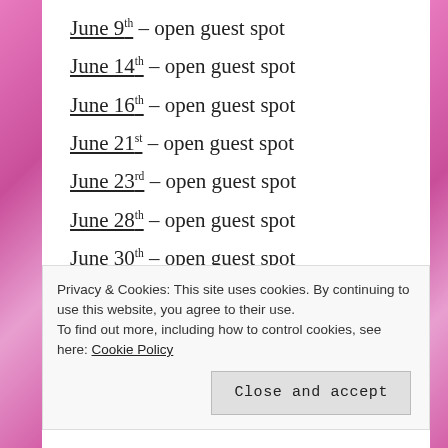June 9th – open guest spot
June 14th – open guest spot
June 16th – open guest spot
June 21st – open guest spot
June 23rd – open guest spot
June 28th – open guest spot
June 30th – open guest spot
Privacy & Cookies: This site uses cookies. By continuing to use this website, you agree to their use. To find out more, including how to control cookies, see here: Cookie Policy
Close and accept